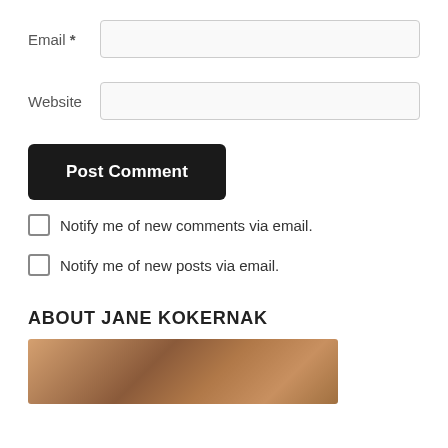Email *
Website
Post Comment
Notify me of new comments via email.
Notify me of new posts via email.
ABOUT JANE KOKERNAK
[Figure (photo): Photo of Jane Kokernak, partially visible portrait with warm brown tones]